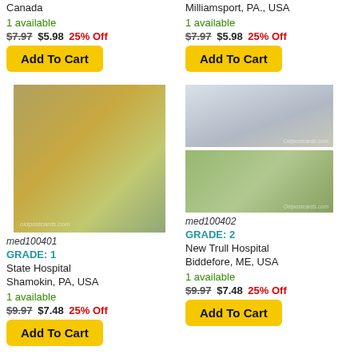Canada
1 available
$7.97  $5.98  25% Off
Add To Cart
Milliamsport, PA., USA
1 available
$7.97  $5.98  25% Off
Add To Cart
[Figure (photo): Vintage postcard of State Hospital, Shamokin PA]
med100401
GRADE: 1
State Hospital Shamokin, PA, USA
1 available
$9.97  $7.48  25% Off
Add To Cart
[Figure (photo): Two vintage postcards of New Trull Hospital, Biddefore ME]
med100402
GRADE: 2
New Trull Hospital Biddefore, ME, USA
1 available
$9.97  $7.48  25% Off
Add To Cart
[Figure (photo): Vintage postcard bottom left]
[Figure (photo): Vintage postcard bottom right]